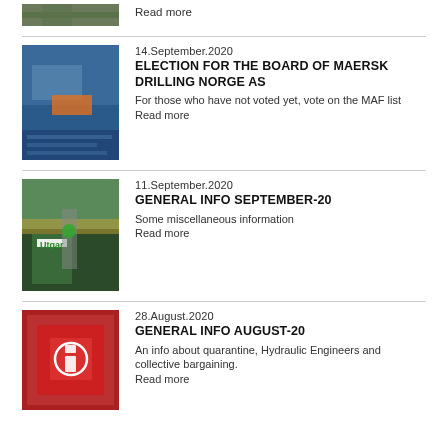[Figure (photo): Partial top image (aerial/nature scene), cropped]
Read more
[Figure (photo): Ship at sea, blue hull, Maersk drilling vessel]
14.September.2020
ELECTION FOR THE BOARD OF MAERSK DRILLING NORGE AS
For those who have not voted yet, vote on the MAF list
Read more
[Figure (photo): Offshore structure with green Utgard sign, industrial platform]
11.September.2020
GENERAL INFO SEPTEMBER-20
Some miscellaneous information
Read more
[Figure (photo): Red safety sign with icon, industrial/offshore equipment]
28.August.2020
GENERAL INFO AUGUST-20
An info about quarantine, Hydraulic Engineers and collective bargaining.
Read more